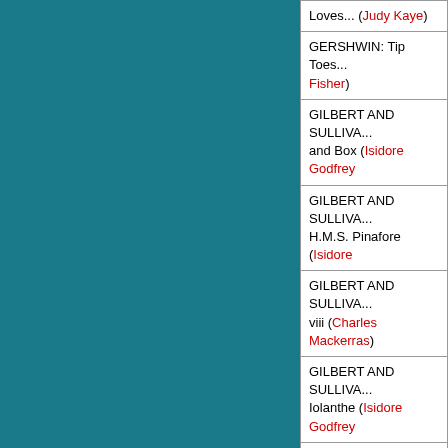| Loves... (Judy Kaye) |
| GERSHWIN: Tip Toes... Fisher) |
| GILBERT AND SULLIVA... and Box (Isidore Godfrey) |
| GILBERT AND SULLIVA... H.M.S. Pinafore (Isidore  |
| GILBERT AND SULLIVA... viii (Charles Mackerras) |
| GILBERT AND SULLIVA... Iolanthe (Isidore Godfrey |
| GILBERT AND SULLIVA... Macbeth (Royston Nash) |
| GILBERT AND SULLIVA... Patience (Isidore Godfre |
| GILBERT AND SULLIVA... Princess Ida (Malcolm Sa |
| GILBERT AND SULLIVA... Ruddigore (Isidore Godfr |
| GILBERT AND SULLIVA... Gondoliers (Isidore Godf |